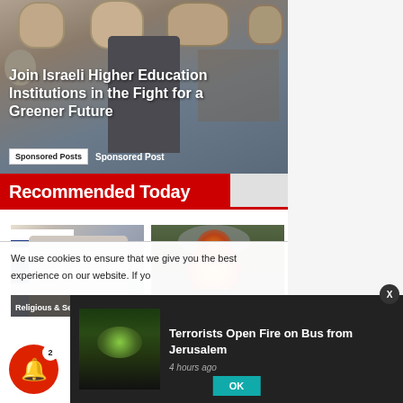[Figure (photo): Museum exhibit with pre-Columbian mask artifacts on a wall, a person photographing them in background]
Join Israeli Higher Education Institutions in the Fight for a Greener Future
Sponsored Posts  Sponsored Post
Recommended Today
[Figure (photo): Woman with white hat in front of blue and white flag, labeled Religious & Secular in]
[Figure (photo): Fire and smoke at night among trees]
We use cookies to ensure that we give you the best experience on our website. If yo
[Figure (photo): Dark nighttime scene with green glow, small thumbnail for breaking news]
Terrorists Open Fire on Bus from Jerusalem
4 hours ago